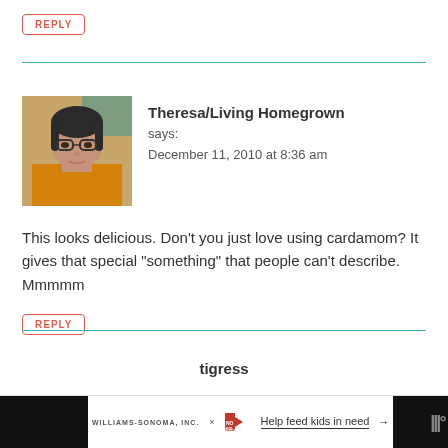REPLY
[Figure (photo): Avatar photo of Theresa/Living Homegrown - woman with dark hair and glasses, wearing yellow top]
Theresa/Living Homegrown
says:
December 11, 2010 at 8:36 am
This looks delicious. Don’t you just love using cardamom? It gives that special “something” that people can’t describe. Mmmmm
REPLY
tigress
WILLIAMS-SONOMA, INC. ×   NO KID HUNGRY   Help feed kids in need →